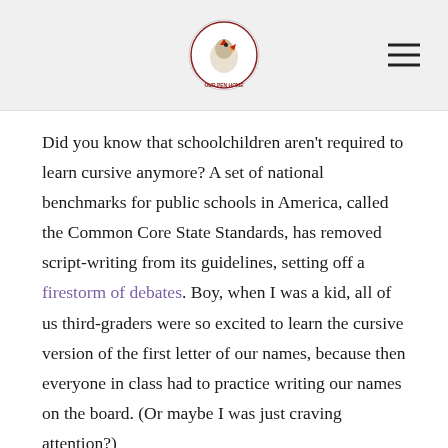[Site logo and navigation menu icon]
Did you know that schoolchildren aren't required to learn cursive anymore? A set of national benchmarks for public schools in America, called the Common Core State Standards, has removed script-writing from its guidelines, setting off a firestorm of debates. Boy, when I was a kid, all of us third-graders were so excited to learn the cursive version of the first letter of our names, because then everyone in class had to practice writing our names on the board. (Or maybe I was just craving attention?)
Handwriting, it seems — both script and print — is becoming a lost art. My grandmother, for example, has the most beautiful